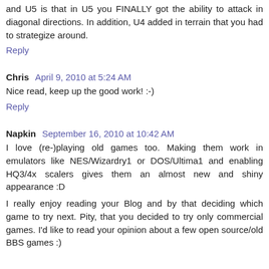and U5 is that in U5 you FINALLY got the ability to attack in diagonal directions. In addition, U4 added in terrain that you had to strategize around.
Reply
Chris  April 9, 2010 at 5:24 AM
Nice read, keep up the good work! :-)
Reply
Napkin  September 16, 2010 at 10:42 AM
I love (re-)playing old games too. Making them work in emulators like NES/Wizardry1 or DOS/Ultima1 and enabling HQ3/4x scalers gives them an almost new and shiny appearance :D
I really enjoy reading your Blog and by that deciding which game to try next. Pity, that you decided to try only commercial games. I'd like to read your opinion about a few open source/old BBS games :)